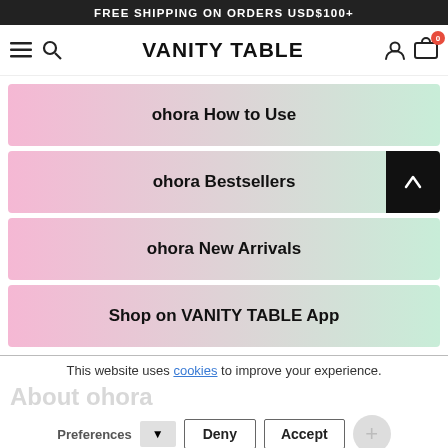FREE SHIPPING ON ORDERS USD$100+
VANITY TABLE
ohora How to Use
ohora Bestsellers
ohora New Arrivals
Shop on VANITY TABLE App
This website uses cookies to improve your experience.
About ohora
Preferences  Deny  Accept